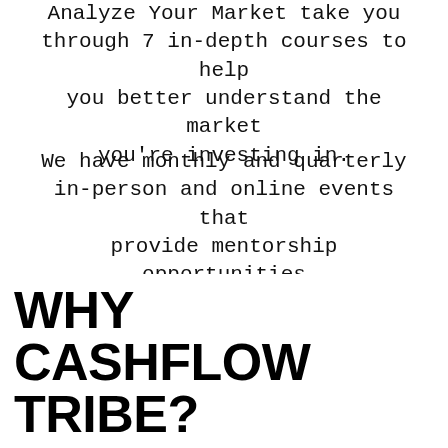Analyze Your Market take you through 7 in-depth courses to help you better understand the market you’re investing in.
We have monthly and quarterly in-person and online events that provide mentorship opportunities from myself and co-founder Matt McKeever, a chance to connect with other members on a more personal level and the chance to close deals!
WHY CASHFLOW TRIBE?